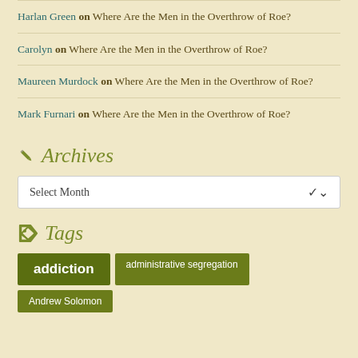Harlan Green on Where Are the Men in the Overthrow of Roe?
Carolyn on Where Are the Men in the Overthrow of Roe?
Maureen Murdock on Where Are the Men in the Overthrow of Roe?
Mark Furnari on Where Are the Men in the Overthrow of Roe?
Archives
Select Month
Tags
addiction   administrative segregation   Andrew Solomon